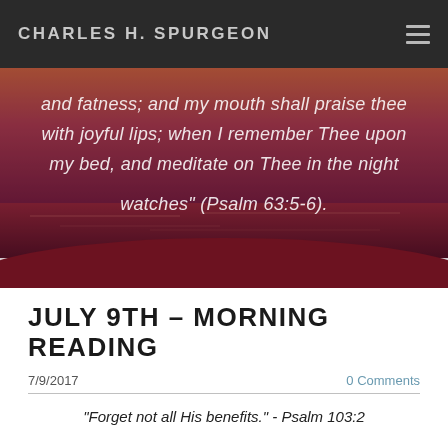CHARLES H. SPURGEON
[Figure (illustration): Hero image with red/purple landscape background (water and sandy terrain at dusk/night) with italic white text overlay quoting Psalm 63:5-6]
and fatness; and my mouth shall praise thee with joyful lips; when I remember Thee upon my bed, and meditate on Thee in the night watches" (Psalm 63:5-6).
JULY 9TH – MORNING READING
7/9/2017
0 Comments
“Forget not all His benefits.” - Psalm 103:2